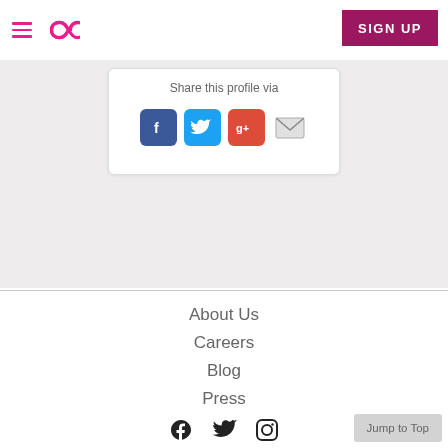[Figure (screenshot): Navigation bar with hamburger menu, infinity loop logo in pink, and SIGN UP button in dark magenta]
[Figure (screenshot): Share this profile via card with Facebook, Twitter, Google+, and email icons]
Share this profile via
About Us
Careers
Blog
Press
[Figure (screenshot): Footer social icons: Facebook, Twitter, Instagram in black, and Jump to Top button]